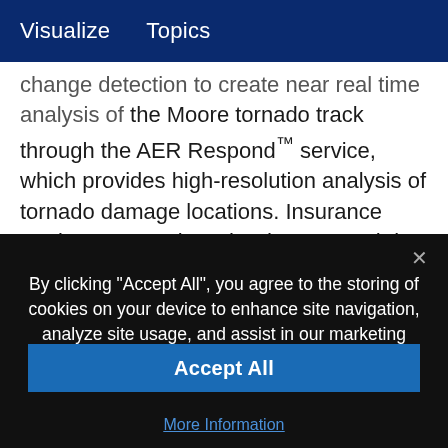Visualize    Topics
change detection to create near real time analysis of the Moore tornado track through the AER Respond™ service, which provides high-resolution analysis of tornado damage locations. Insurance carriers can analyze the damage path in a variety of geospatial platforms to fine-tune the potential effect on policyholders and establish future loss reserves.
By clicking "Accept All", you agree to the storing of cookies on your device to enhance site navigation, analyze site usage, and assist in our marketing effort Cookie Policy
Accept All
More Information